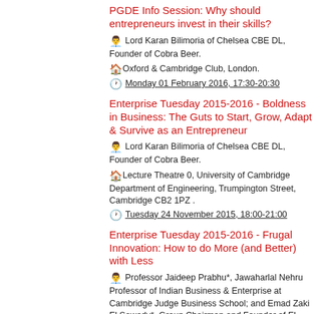PGDE Info Session: Why should entrepreneurs invest in their skills?
Lord Karan Bilimoria of Chelsea CBE DL, Founder of Cobra Beer.
Oxford & Cambridge Club, London.
Monday 01 February 2016, 17:30-20:30
Enterprise Tuesday 2015-2016 - Boldness in Business: The Guts to Start, Grow, Adapt & Survive as an Entrepreneur
Lord Karan Bilimoria of Chelsea CBE DL, Founder of Cobra Beer.
Lecture Theatre 0, University of Cambridge Department of Engineering, Trumpington Street, Cambridge CB2 1PZ .
Tuesday 24 November 2015, 18:00-21:00
Enterprise Tuesday 2015-2016 - Frugal Innovation: How to do More (and Better) with Less
Professor Jaideep Prabhu*, Jawaharlal Nehru Professor of Indian Business & Enterprise at Cambridge Judge Business School; and Emad Zaki El Sewedy*, Group Chairman and Founder of El Sewedy Electrometer Group.